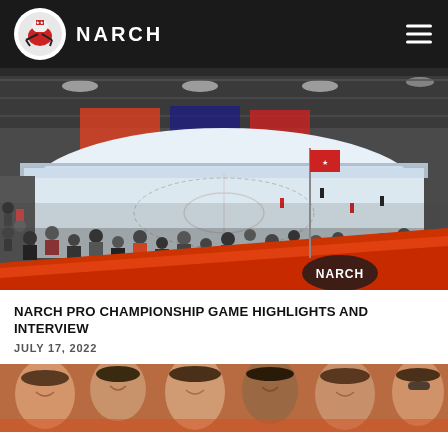NARCH
[Figure (photo): Indoor hockey rink aerial view with crowd of spectators along the boards, NARCH branded banner visible in foreground, large banner displays on the rink walls]
NARCH PRO CHAMPIONSHIP GAME HIGHLIGHTS AND INTERVIEW
JULY 17, 2022
[Figure (photo): Group of smiling young women, partially cropped, appearing to be at the NARCH event]